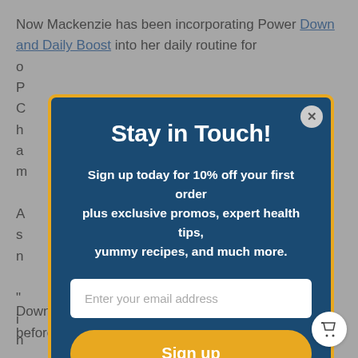Now Mackenzie has been incorporating Power Down and Daily Boost into her daily routine for o...
[Figure (screenshot): Modal popup with dark blue background and gold border. Title 'Stay in Touch!', subtitle about 10% off first order, email input field, and yellow Sign up button.]
Down and it will always help. I take Daily Boost before a long run or a hard workout, or definitely